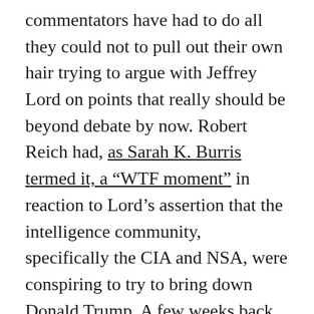commentators have had to do all they could not to pull out their own hair trying to argue with Jeffrey Lord on points that really should be beyond debate by now. Robert Reich had, as Sarah K. Burris termed it, a “WTF moment” in reaction to Lord’s assertion that the intelligence community, specifically the CIA and NSA, were conspiring to try to bring down Donald Trump. A few weeks back, Bill Maher had Jeff Lord on his show, and had to shout “Don’t bullshit me!” to stop Lord from insisting that the Russians didn’t interfere in our election. Just the other day, meanwhile, Anderson Cooper was forced to “debate” with